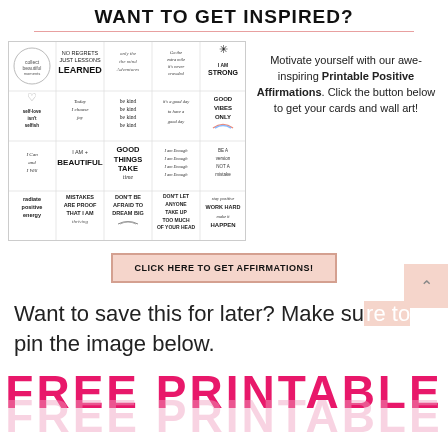WANT TO GET INSPIRED?
[Figure (illustration): Grid of 20 printable positive affirmation cards with text such as 'NO REGRETS JUST LESSONS LEARNED', 'I AM STRONG', 'self-love isn't selfish', 'be kind be kind be kind be kind', 'GOOD THINGS TAKE TIME', 'BE A VERSION NOT A MISTAKE', 'radiate positive energy', 'MISTAKES ARE PROOF THAT I AM', 'DON'T BE AFRAID TO DREAM BIG', 'DON'T LET ANYONE TAKE UP TOO MUCH OF YOUR HEAD', 'stay positive WORK HARD make it HAPPEN']
Motivate yourself with our awe-inspiring Printable Positive Affirmations. Click the button below to get your cards and wall art!
CLICK HERE TO GET AFFIRMATIONS!
Want to save this for later? Make sure to pin the image below.
FREE PRINTABLE